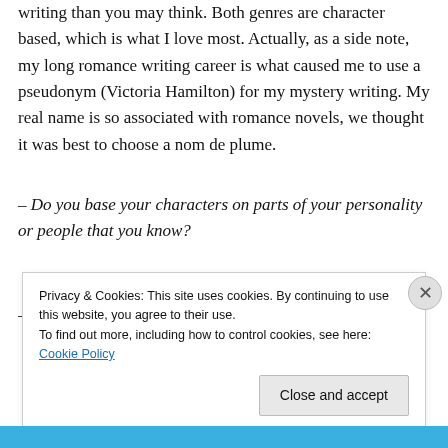writing than you may think. Both genres are character based, which is what I love most. Actually, as a side note, my long romance writing career is what caused me to use a pseudonym (Victoria Hamilton) for my mystery writing. My real name is so associated with romance novels, we thought it was best to choose a nom de plume.
– Do you base your characters on parts of your personality or people that you know?
– Yes and no. My characters come from observation of
Privacy & Cookies: This site uses cookies. By continuing to use this website, you agree to their use.
To find out more, including how to control cookies, see here: Cookie Policy